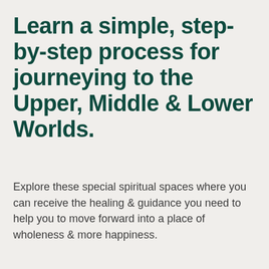Learn a simple, step-by-step process for journeying to the Upper, Middle & Lower Worlds.
Explore these special spiritual spaces where you can receive the healing & guidance you need to help you to move forward into a place of wholeness & more happiness.